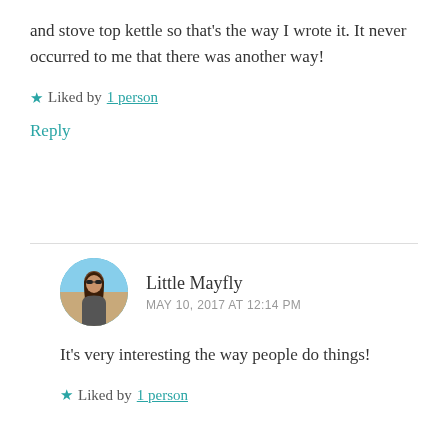and stove top kettle so that's the way I wrote it. It never occurred to me that there was another way!
★ Liked by 1 person
Reply
Little Mayfly
MAY 10, 2017 AT 12:14 PM
It's very interesting the way people do things!
★ Liked by 1 person